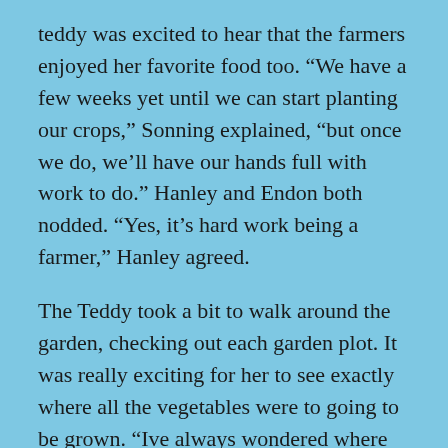teddy was excited to hear that the farmers enjoyed her favorite food too. “We have a few weeks yet until we can start planting our crops,” Sonning explained, “but once we do, we’ll have our hands full with work to do.” Hanley and Endon both nodded. “Yes, it’s hard work being a farmer,” Hanley agreed.
The Teddy took a bit to walk around the garden, checking out each garden plot. It was really exciting for her to see exactly where all the vegetables were to going to be grown. “Ive always wondered where my potatoes came fwom!” she giggled, poking the garden plots with her paw. Sonning laughed. “Well, you may end up getting them from us this year,” he told the little teddy. “Oh tha’s a vewy cool thought!” she said. She was excited to know the farmers who would grow her potatoes.